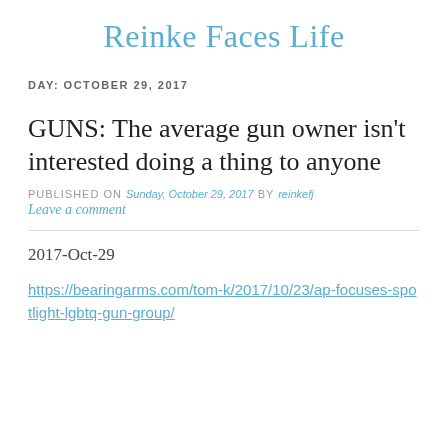Reinke Faces Life
DAY: OCTOBER 29, 2017
GUNS: The average gun owner isn't interested doing a thing to anyone
PUBLISHED ON Sunday, October 29, 2017 by reinkefj
Leave a comment
2017-Oct-29
https://bearingarms.com/tom-k/2017/10/23/ap-focuses-spotlight-lgbtq-gun-group/